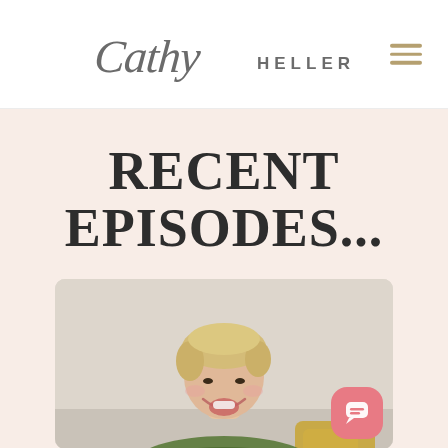Cathy HELLER
RECENT EPISODES...
[Figure (photo): Photo of a smiling Asian woman with short blonde hair wearing a floral dress, seated with yellow pillows visible, shot in a bright interior setting]